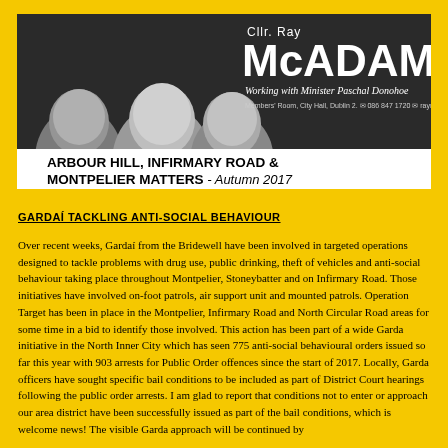[Figure (photo): Newsletter header photo showing three men (faces) in a black-and-white photo, with name 'McAdam' (Cllr. Ray McAdam), 'Working with Minister Paschal Donohoe', Members' Room City Hall Dublin 2, phone 086 847 1720, email raymcadam@gmail.com. Below: banner text 'ARBOUR HILL, INFIRMARY ROAD & MONTPELIER MATTERS - Autumn 2017']
GARDAÍ TACKLING ANTI-SOCIAL BEHAVIOUR
Over recent weeks, Gardaí from the Bridewell have been involved in targeted operations designed to tackle problems with drug use, public drinking, theft of vehicles and anti-social behaviour taking place throughout Montpelier, Stoneybatter and on Infirmary Road. Those initiatives have involved on-foot patrols, air support unit and mounted patrols. Operation Target has been in place in the Montpelier, Infirmary Road and North Circular Road areas for some time in a bid to identify those involved. This action has been part of a wide Garda initiative in the North Inner City which has seen 775 anti-social behavioural orders issued so far this year with 903 arrests for Public Order offences since the start of 2017. Locally, Garda officers have sought specific bail conditions to be included as part of District Court hearings following the public order arrests. I am glad to report that conditions not to enter or approach our area district have been successfully issued as part of the bail conditions, which is welcome news! The visible Garda approach will be continued by